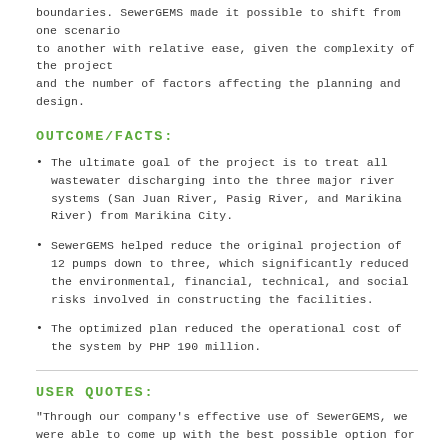boundaries. SewerGEMS made it possible to shift from one scenario to another with relative ease, given the complexity of the project and the number of factors affecting the planning and design.
OUTCOME/FACTS:
The ultimate goal of the project is to treat all wastewater discharging into the three major river systems (San Juan River, Pasig River, and Marikina River) from Marikina City.
SewerGEMS helped reduce the original projection of 12 pumps down to three, which significantly reduced the environmental, financial, technical, and social risks involved in constructing the facilities.
The optimized plan reduced the operational cost of the system by PHP 190 million.
USER QUOTES:
"Through our company’s effective use of SewerGEMS, we were able to come up with the best possible option for every project, which enables us to manage and reduce the impact of the environmental, social, technical, financial, and political risks of these projects."